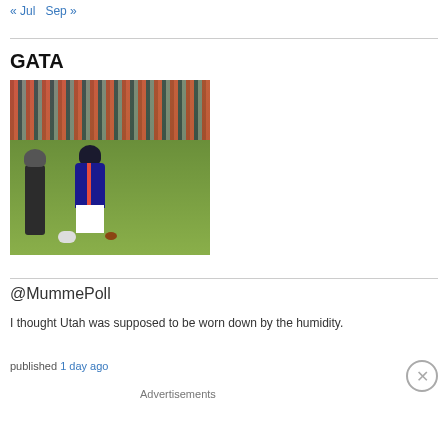« Jul   Sep »
GATA
[Figure (photo): Football player on the field at a game with a large crowd in the background, bending down near a football. Several other people are visible on the sideline.]
@MummePoll
I thought Utah was supposed to be worn down by the humidity.
published 1 day ago
[Figure (infographic): Pocket Casts advertisement banner. Red background with text: An app by listeners, for listeners. Pocket Casts logo on right. Book cover image for Distributed in center.]